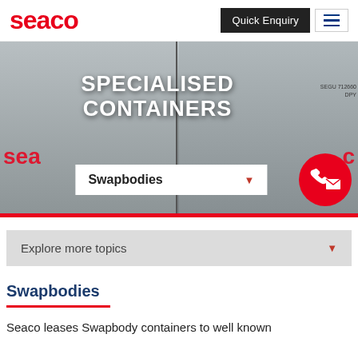seaco
[Figure (photo): Hero image showing specialised shipping containers (swapbodies) with 'SPECIALISED CONTAINERS' title overlay, a dropdown selector showing 'Swapbodies', and a red phone/email contact circle button.]
Explore more topics
Swapbodies
Seaco leases Swapbody containers to well known